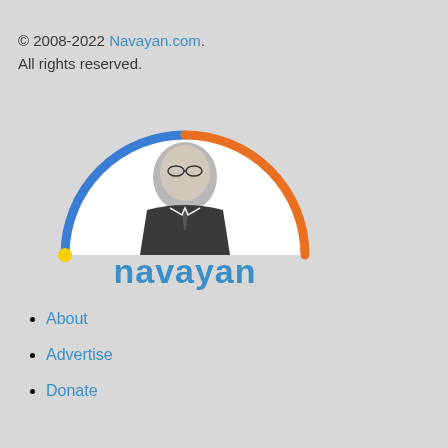© 2008-2022 Navayan.com. All rights reserved.
[Figure (logo): Navayan.com logo: semicircular arc with blue left side, orange right side, small yellow dot at bottom left. Inside the semicircle is a grayscale portrait photo of a man in suit and glasses (Dr. B.R. Ambedkar), and below the photo is the text 'navayan' in blue rounded letters.]
About
Advertise
Donate